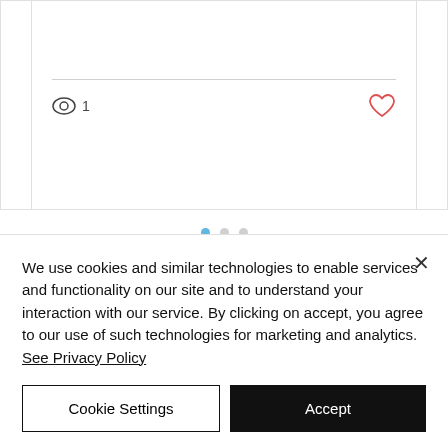[Figure (screenshot): Partial view of a content card with eye icon showing view count of 1 and a heart/like icon in red, with a horizontal divider above the icons.]
[Figure (infographic): Dot navigation indicator with three dots: first dot active (blue), second and third dots inactive (grey).]
[Figure (other): Loading spinner represented as a single grey circle.]
We use cookies and similar technologies to enable services and functionality on our site and to understand your interaction with our service. By clicking on accept, you agree to our use of such technologies for marketing and analytics. See Privacy Policy
Cookie Settings
Accept